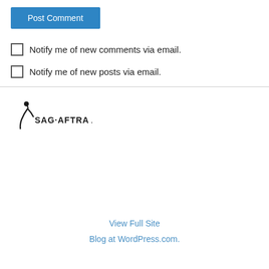Post Comment
Notify me of new comments via email.
Notify me of new posts via email.
[Figure (logo): SAG-AFTRA logo with stylized figure and text]
View Full Site
Blog at WordPress.com.